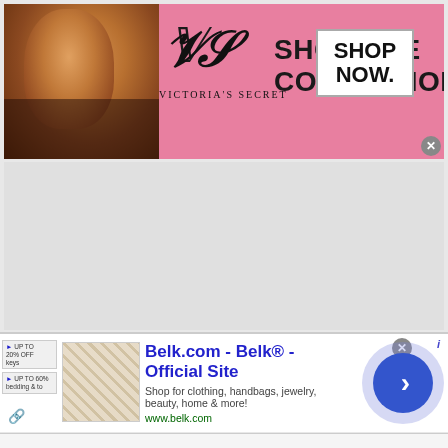[Figure (advertisement): Victoria's Secret banner ad with pink background, model photo on left, VS logo and 'SHOP THE COLLECTION' text in center, 'SHOP NOW' button on right]
[Figure (advertisement): Belk.com display ad with thumbnail image, title 'Belk.com - Belk® - Official Site', description 'Shop for clothing, handbags, jewelry, beauty, home & more!', URL 'www.belk.com', and circular arrow button on right]